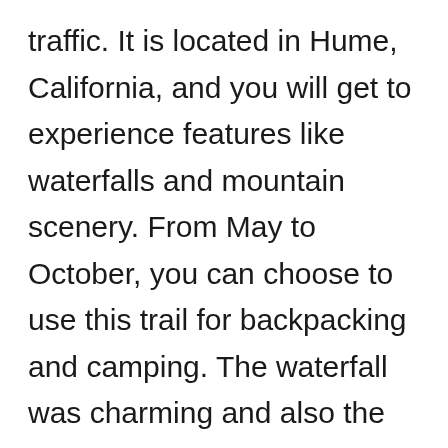traffic. It is located in Hume, California, and you will get to experience features like waterfalls and mountain scenery. From May to October, you can choose to use this trail for backpacking and camping. The waterfall was charming and also the whole hike in general. The only thing I didn't like were the bugs and gnats; make sure you carry insect repellant with you. We also got to see some snakes on the trail, but they immediately went back into the woods, so we were safe. Make sure that you are